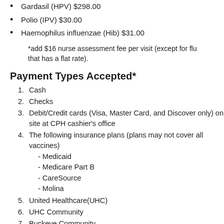Gardasil (HPV) $298.00
Polio (IPV) $30.00
Haemophilus influenzae (Hib) $31.00
*add $16 nurse assessment fee per visit (except for flu that has a flat rate).
Payment Types Accepted*
1. Cash
2. Checks
3. Debit/Credit cards (Visa, Master Card, and Discover only) on site at CPH cashier's office
4. The following insurance plans (plans may not cover all vaccines) - Medicaid - Medicare Part B - CareSource - Molina
5. United Healthcare(UHC)
6. UHC Community
7. Buckeye Community
8. Paramount Advantage
9. Anthem BC/BS